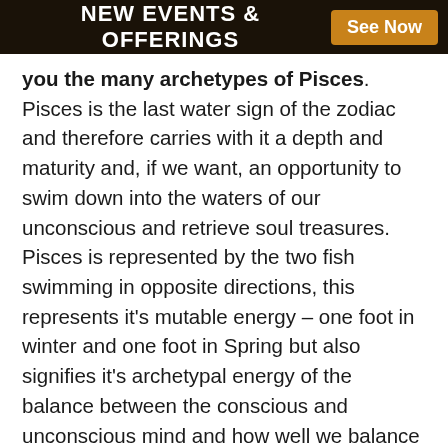NEW EVENTS & OFFERINGS  See Now
you the many archetypes of Pisces. Pisces is the last water sign of the zodiac and therefore carries with it a depth and maturity and, if we want, an opportunity to swim down into the waters of our unconscious and retrieve soul treasures. Pisces is represented by the two fish swimming in opposite directions, this represents it's mutable energy – one foot in winter and one foot in Spring but also signifies it's archetypal energy of the balance between the conscious and unconscious mind and how well we balance our spiritual life with our worldly life. Pisces is a deep and magical sign, ruled by the 12th House of Self-Knowing and the unconscious and the planets Neptune and